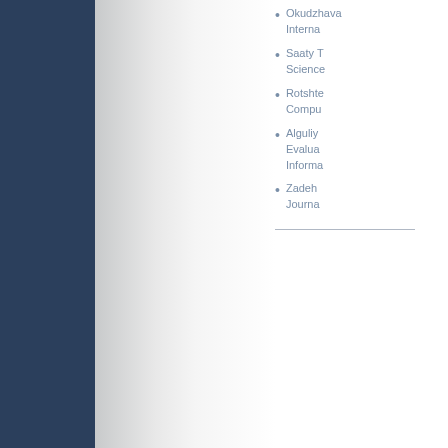Okudzhava ... International
Saaty T... Science
Rotshte... Compu
Alguliy... Evalua... Informa
Zadeh ... Journa
Copyright © Institute of Information Technolo
This work is licensed u